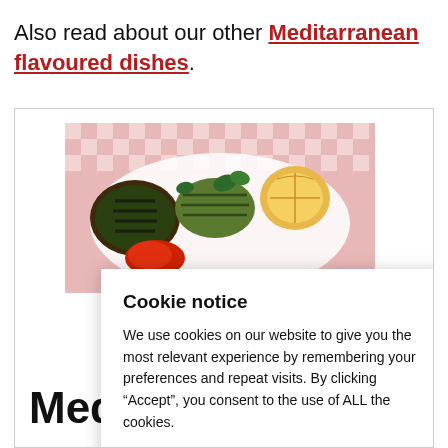Also read about our other Meditarranean flavoured dishes.
[Figure (photo): Photo of Mediterranean grilled vegetables including eggplant, zucchini, and lemon on a pink checkered tablecloth]
Medit...ranean
Cookie notice
We use cookies on our website to give you the most relevant experience by remembering your preferences and repeat visits. By clicking “Accept”, you consent to the use of ALL the cookies.
Cookie settings | ACCEPT